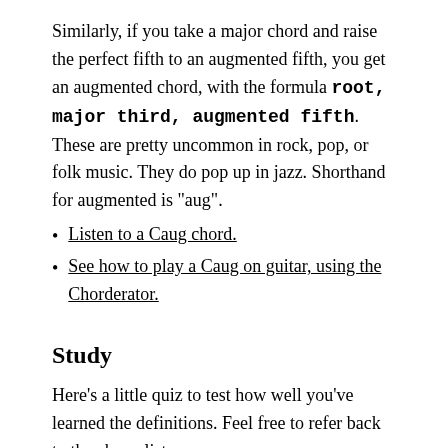Similarly, if you take a major chord and raise the perfect fifth to an augmented fifth, you get an augmented chord, with the formula root, major third, augmented fifth. These are pretty uncommon in rock, pop, or folk music. They do pop up in jazz. Shorthand for augmented is "aug".
Listen to a Caug chord.
See how to play a Caug on guitar, using the Chorderator.
Study
Here's a little quiz to test how well you've learned the definitions. Feel free to refer back to the above list.
This quiz tests your understanding of how chords are constructed. Choose the correct response to the